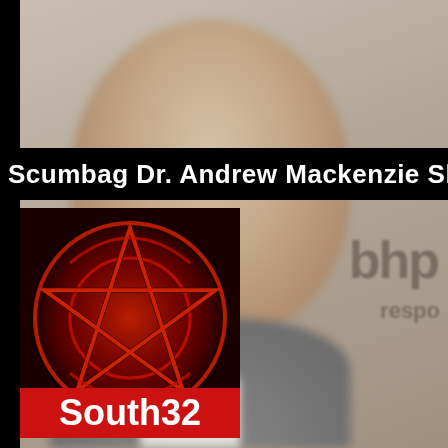[Figure (photo): Blurred photo of a man in a suit against a grey background with 'bhp' and 'respo' text partially visible]
Scumbag Dr. Andrew Mackenzie Shell R
[Figure (illustration): Red glowing pentagram/occult symbol on dark background]
South32